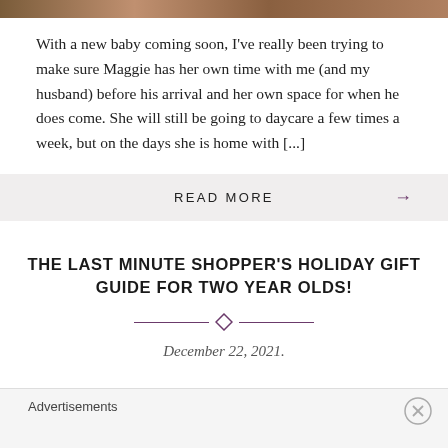[Figure (photo): Decorative image strip at top of page]
With a new baby coming soon, I've really been trying to make sure Maggie has her own time with me (and my husband) before his arrival and her own space for when he does come. She will still be going to daycare a few times a week, but on the days she is home with [...]
READ MORE →
THE LAST MINUTE SHOPPER'S HOLIDAY GIFT GUIDE FOR TWO YEAR OLDS!
December 22, 2021.
Advertisements